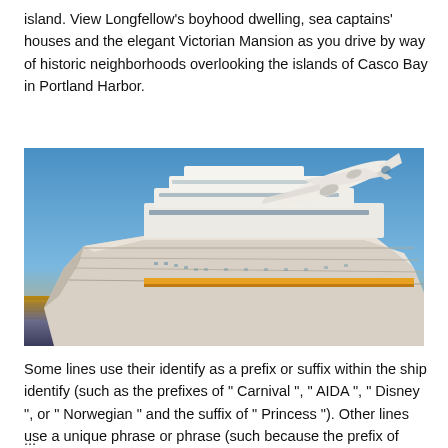island. View Longfellow's boyhood dwelling, sea captains' houses and the elegant Victorian Mansion as you drive by way of historic neighborhoods overlooking the islands of Casco Bay in Portland Harbor.
[Figure (photo): A large cruise ship at sea with an airplane flying overhead against a blue sky with sunset light reflecting on the water.]
Some lines use their identify as a prefix or suffix within the ship identify (such as the prefixes of " Carnival ", " AIDA ", " Disney ", or " Norwegian " and the suffix of " Princess "). Other lines use a unique phrase or phrase (such because the prefix of "Pacific" for
...